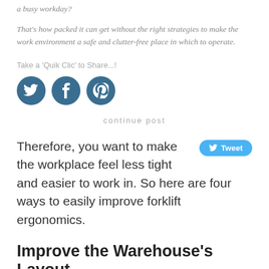a busy workday?
That's how packed it can get without the right strategies to make the work environment a safe and clutter-free place in which to operate.
Take a 'Quik Clic' to Share...!
[Figure (infographic): Three social media icon circles: Twitter bird, Facebook f, Pinterest p — all in dark steel blue]
continue post
Therefore, you want to make the workplace feel less tight and easier to work in. So here are four ways to easily improve forklift ergonomics.
Improve the Warehouse's Layout